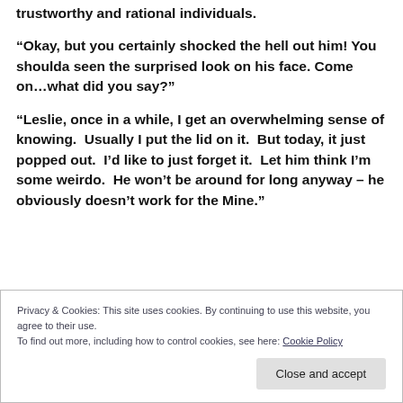trustworthy and rational individuals.
“Okay, but you certainly shocked the hell out him! You shoulda seen the surprised look on his face. Come on…what did you say?”
“Leslie, once in a while, I get an overwhelming sense of knowing.  Usually I put the lid on it.  But today, it just popped out.  I’d like to just forget it.  Let him think I’m some weirdo.  He won’t be around for long anyway – he obviously doesn’t work for the Mine.”
Privacy & Cookies: This site uses cookies. By continuing to use this website, you agree to their use.
To find out more, including how to control cookies, see here: Cookie Policy
Close and accept